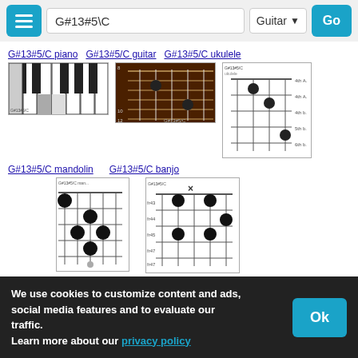G#13#5\C  Guitar  Go
G#13#5/C piano
G#13#5/C guitar
G#13#5/C ukulele
[Figure (illustration): Piano keyboard chord diagram for G#13#5/C]
[Figure (illustration): Guitar fretboard chord diagram for G#13#5/C]
[Figure (illustration): Ukulele chord diagram for G#13#5/C]
G#13#5/C mandolin
G#13#5/C banjo
[Figure (illustration): Mandolin chord diagram for G#13#5/C]
[Figure (illustration): Banjo chord diagram for G#13#5/C]
Scales Related to G#13#5/C
Scales that include all of the notes of G#13#5/C.
F#/Gb leading whole tone  A#/Bb minor lydian  C arabian  C eight tone spanish  C neapolitan  F neapolitan major  G perian  F lidi...
We use cookies to customize content and ads, social media features and to evaluate our traffic.
Learn more about our privacy policy